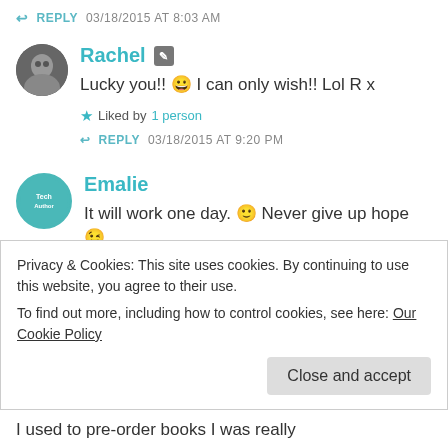↩ REPLY  03/18/2015 AT 8:03 AM
Rachel [edit icon]
Lucky you!! 😀 I can only wish!! Lol R x
★ Liked by 1 person
↩ REPLY  03/18/2015 AT 9:20 PM
Emalie
It will work one day. 🙂 Never give up hope 😉
Privacy & Cookies: This site uses cookies. By continuing to use this website, you agree to their use.
To find out more, including how to control cookies, see here: Our Cookie Policy
Close and accept
I used to pre-order books I was really